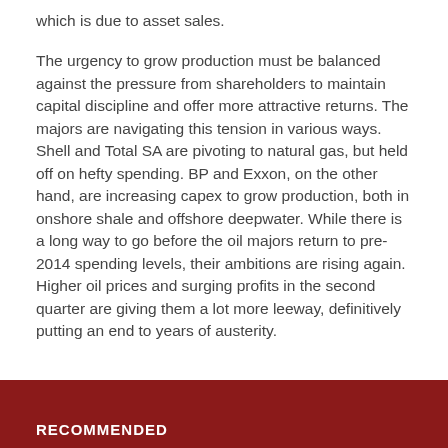which is due to asset sales.
The urgency to grow production must be balanced against the pressure from shareholders to maintain capital discipline and offer more attractive returns. The majors are navigating this tension in various ways. Shell and Total SA are pivoting to natural gas, but held off on hefty spending. BP and Exxon, on the other hand, are increasing capex to grow production, both in onshore shale and offshore deepwater. While there is a long way to go before the oil majors return to pre-2014 spending levels, their ambitions are rising again. Higher oil prices and surging profits in the second quarter are giving them a lot more leeway, definitively putting an end to years of austerity.
RECOMMENDED